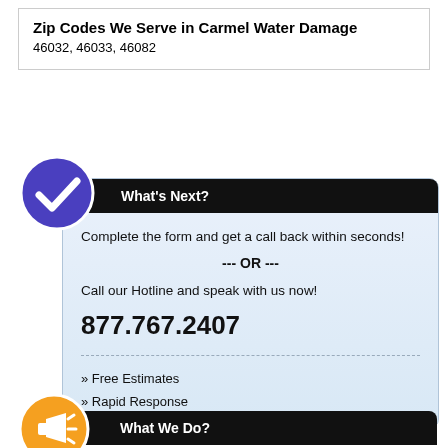Zip Codes We Serve in Carmel Water Damage
46032, 46033, 46082
[Figure (infographic): What's Next? widget card with checkmark icon, text about completing a form or calling the hotline, phone number 877.767.2407, free estimates and rapid response bullets]
[Figure (infographic): What We Do? widget card with megaphone icon, partial view]